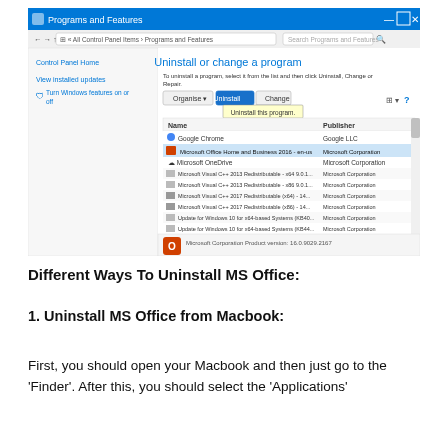[Figure (screenshot): Windows Programs and Features control panel window showing 'Uninstall or change a program' with a list of installed programs. Microsoft Office Home and Business 2016 is highlighted/selected and a tooltip shows 'Uninstall this program.' The list includes Google Chrome, Microsoft OneDrive, Microsoft Visual C++ packages, and Windows 10 updates. The Microsoft Office logo appears at the bottom with product version 16.0.9029.2167.]
Different Ways To Uninstall MS Office:
1. Uninstall MS Office from Macbook:
First, you should open your Macbook and then just go to the 'Finder'. After this, you should select the 'Applications'